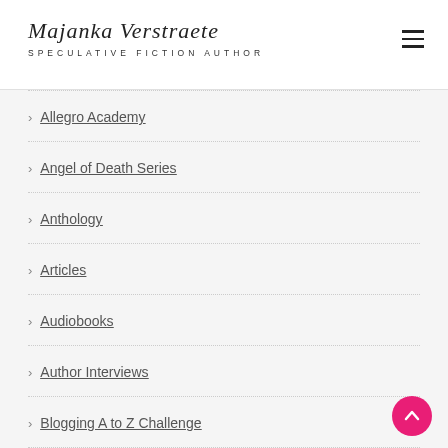Majanka Verstraete
SPECULATIVE FICTION AUTHOR
Allegro Academy
Angel of Death Series
Anthology
Articles
Audiobooks
Author Interviews
Blogging A to Z Challenge